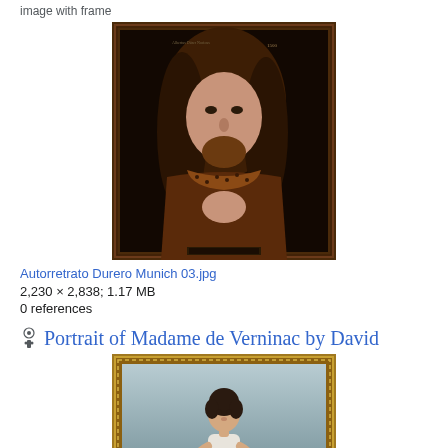image with frame
[Figure (photo): Albrecht Dürer Self-Portrait (Autorretrato Durero Munich 03.jpg) — a dark Renaissance painting in a dark wooden frame showing a man with long curly hair facing forward]
Autorretrato Durero Munich 03.jpg
2,230 × 2,838; 1.17 MB
0 references
Portrait of Madame de Verninac by David
[Figure (photo): Portrait painting of Madame de Verninac by Jacques-Louis David — a young woman in a white dress with a yellow/gold drape, seated against a blue-gray background, in an ornate gold frame]